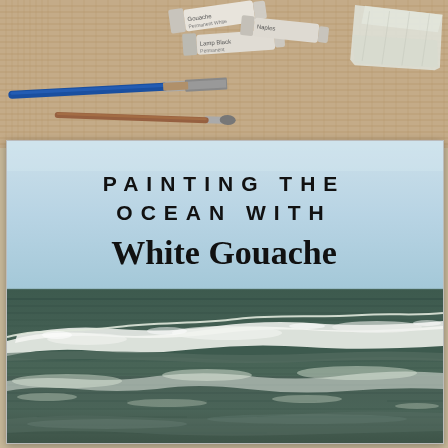[Figure (photo): Art supplies on burlap background — paint tubes (gouache), brushes, and crumpled paper/wax paper — displayed above a watercolor ocean painting.]
PAINTING THE OCEAN WITH White Gouache
[Figure (illustration): A watercolor/gouache painting of an ocean scene with light blue sky, dark green-gray ocean water, a prominent white breaking wave with foam crest, and choppy white-capped foreground water.]